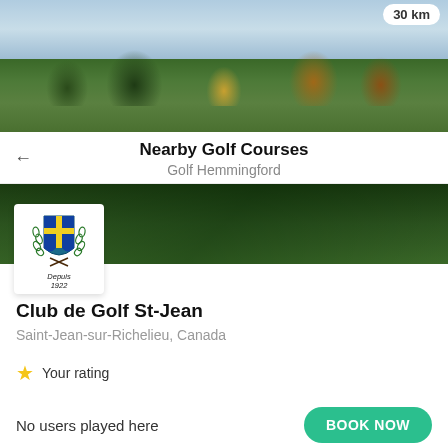[Figure (photo): Golf course photo showing green fairway with trees in background and partly cloudy sky. Distance badge showing '30 km' in top right corner.]
Nearby Golf Courses
Golf Hemmingford
[Figure (photo): Golf club card showing Club de Golf St-Jean logo (shield with cross and laurel wreath, 'Depuis 1922') overlaid on dark green golf course banner image.]
Club de Golf St-Jean
Saint-Jean-sur-Richelieu, Canada
★ Your rating
No users played here
BOOK NOW
Already played this course?
YES
NO